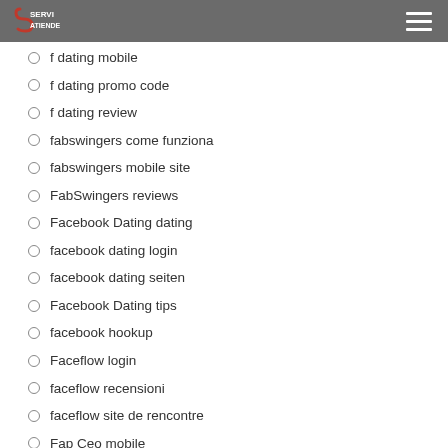SERVI ATIENDE
f dating app
f dating log in
f dating mobile
f dating promo code
f dating review
fabswingers come funziona
fabswingers mobile site
FabSwingers reviews
Facebook Dating dating
facebook dating login
facebook dating seiten
Facebook Dating tips
facebook hookup
Faceflow login
faceflow recensioni
faceflow site de rencontre
Fap Ceo mobile
farmersonly dating apps